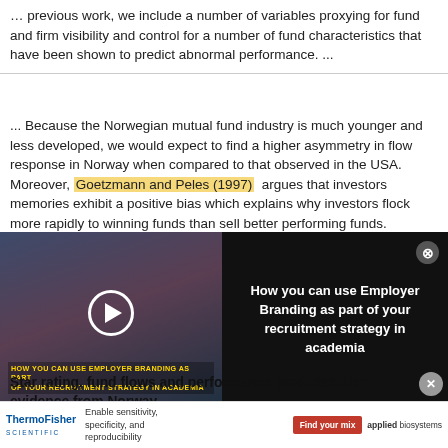... previous work, we include a number of variables proxying for fund and firm visibility and control for a number of fund characteristics that have been shown to predict abnormal performance. ...
... Because the Norwegian mutual fund industry is much younger and less developed, we would expect to find a higher asymmetry in flow response in Norway when compared to that observed in the USA. Moreover, Goetzmann and Peles (1997) argues that investors memories exhibit a positive bias which explains why investors flock more rapidly to winning funds than sell better performing funds. Furthermore, their results also
[Figure (screenshot): Video overlay showing people in a library with title 'How you can use Employer Branding as part of your recruitment strategy in academia' on dark background with play button and close button]
Star rating, fund flows and performance predictability: evidence from Norway
Advertisement
[Figure (screenshot): ThermoFisher Scientific advertisement banner: Enable sensitivity, specificity, and reproducibility. Find your mix. applied biosystems.]